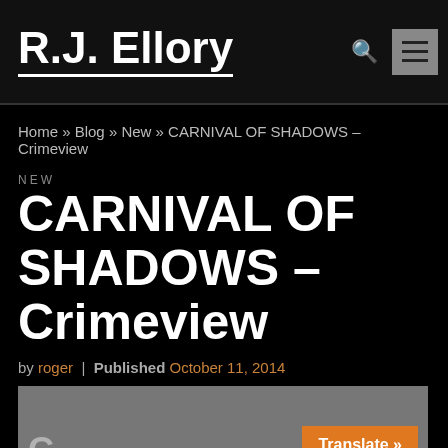R.J. Ellory
Home » Blog » New » CARNIVAL OF SHADOWS – Crimeview
NEW
CARNIVAL OF SHADOWS – Crimeview
by roger | Published October 11, 2014
[Figure (photo): Partial image with a Translate button overlay in orange]